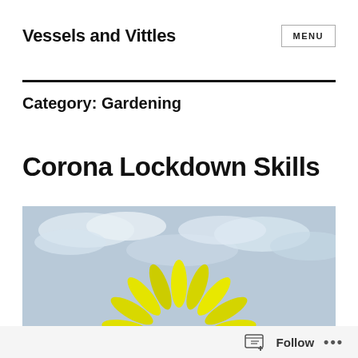Vessels and Vittles
Category: Gardening
Corona Lockdown Skills
[Figure (photo): Close-up photo of a yellow sunflower against a cloudy sky background]
Follow